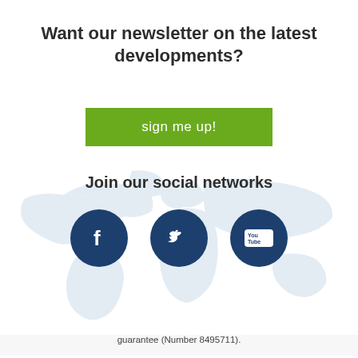Want our newsletter on the latest developments?
[Figure (other): Green 'sign me up!' button]
Join our social networks
[Figure (other): World map background with three dark blue social network icons: Facebook (f), Twitter (bird), YouTube (You Tube logo)]
Sitemap   Terms   Privacy
IAPO is a UK-registered charity (Number 1155577) and a company limited by guarantee (Number 8495711).